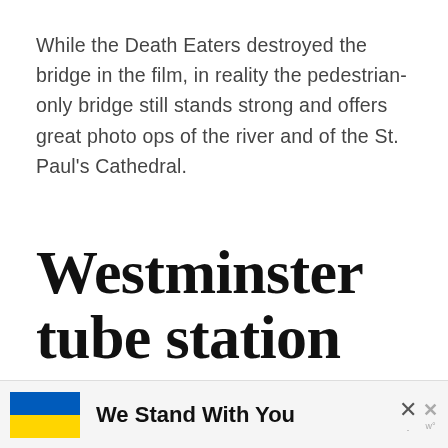While the Death Eaters destroyed the bridge in the film, in reality the pedestrian-only bridge still stands strong and offers great photo ops of the river and of the St. Paul's Cathedral.
Westminster tube station
[Figure (photo): Partial view of what appears to be Westminster tube station interior, dark ceiling and structural elements visible]
We Stand With You